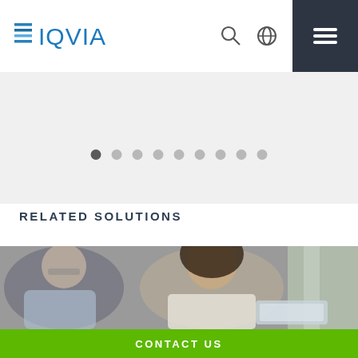IQVIA
[Figure (screenshot): Carousel pagination dots, 9 dots with first one active/filled]
RELATED SOLUTIONS
[Figure (photo): Two business professionals, a man and a woman, looking at a tablet/laptop together in an office setting]
CONTACT US